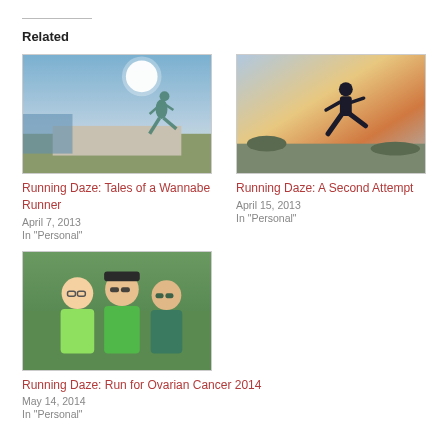Related
[Figure (photo): Woman running on a path near water with bright sun in the background]
Running Daze: Tales of a Wannabe Runner
April 7, 2013
In "Personal"
[Figure (photo): Silhouette of a runner against a colorful sky at sunrise or sunset]
Running Daze: A Second Attempt
April 15, 2013
In "Personal"
[Figure (photo): Three women posing together wearing green shirts at a running event]
Running Daze: Run for Ovarian Cancer 2014
May 14, 2014
In "Personal"